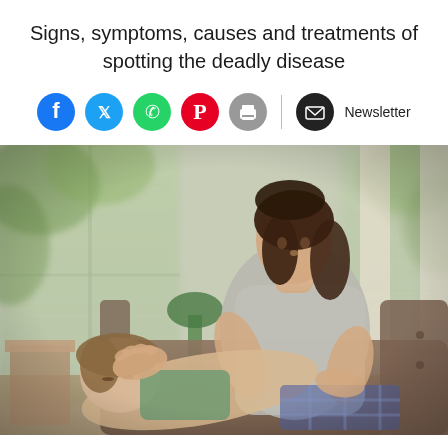Signs, symptoms, causes and treatments of spotting the deadly disease
[Figure (infographic): Social media sharing icons row: Facebook (blue circle), Twitter (cyan circle), WhatsApp (green circle), Pinterest (red circle), Print (grey circle), divider line, Newsletter email icon (dark circle) with text 'Newsletter']
[Figure (photo): A mother sitting on a sofa holding her sick child who is lying across her lap with eyes closed. The room has large windows with green foliage outside. There is a green lamp and teal cushion visible in the background.]